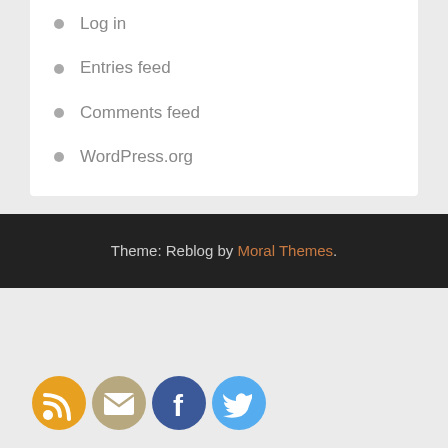Log in
Entries feed
Comments feed
WordPress.org
Theme: Reblog by Moral Themes.
[Figure (illustration): Four social media icons: RSS (orange), Email (tan/beige), Facebook (blue), Twitter (light blue)]